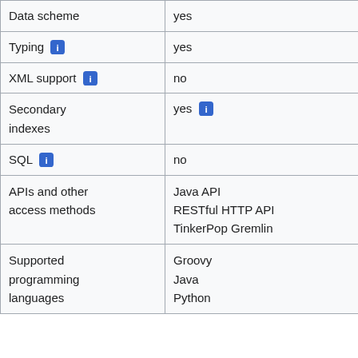| Feature | Value |
| --- | --- |
| Data scheme | yes |
| Typing ℹ | yes |
| XML support ℹ | no |
| Secondary indexes | yes ℹ |
| SQL ℹ | no |
| APIs and other access methods | Java API
RESTful HTTP API
TinkerPop Gremlin |
| Supported programming languages | Groovy
Java
Python |